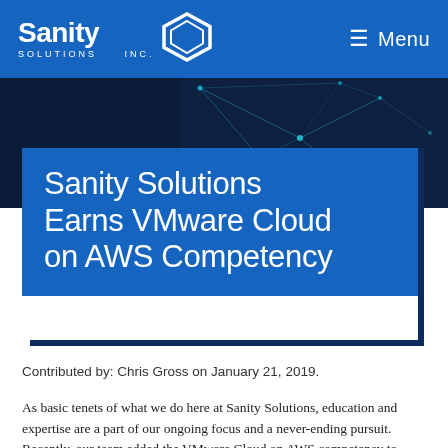Sanity Solutions Inc. — Menu
[Figure (photo): Dark blue abstract network/technology background with teal geometric lines and nodes]
Sanity Solutions Earns VMware Cloud on AWS Competency
Contributed by: Chris Gross on January 21, 2019.
As basic tenets of what we do here at Sanity Solutions, education and expertise are a part of our ongoing focus and a never-ending pursuit. Recently, our team added the VMware Cloud on AWS competency to the already long list of